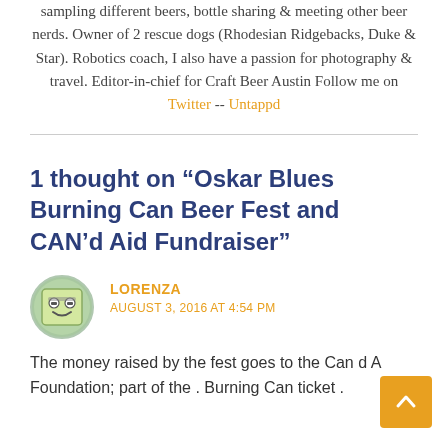sampling different beers, bottle sharing & meeting other beer nerds. Owner of 2 rescue dogs (Rhodesian Ridgebacks, Duke & Star). Robotics coach, I also have a passion for photography & travel. Editor-in-chief for Craft Beer Austin Follow me on Twitter -- Untappd
1 thought on “Oskar Blues Burning Can Beer Fest and CAN’d Aid Fundraiser”
LORENZA
AUGUST 3, 2016 AT 4:54 PM
The money raised by the fest goes to the Can d A Foundation; part of the . Burning Can ticket .